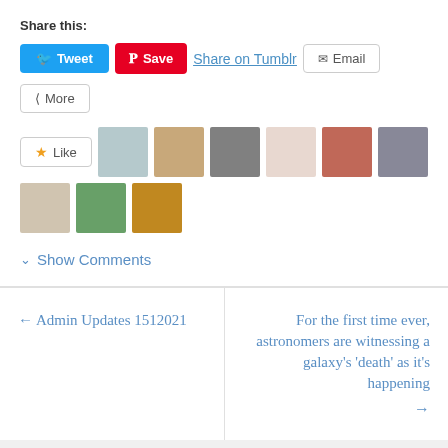Share this:
Tweet  Save  Share on Tumblr  Email  More
[Figure (other): Like button and row of 9 user avatar thumbnails]
Show Comments
← Admin Updates 1512021
For the first time ever, astronomers are witnessing a galaxy's 'death' as it's happening →
Blog at WordPress.com.